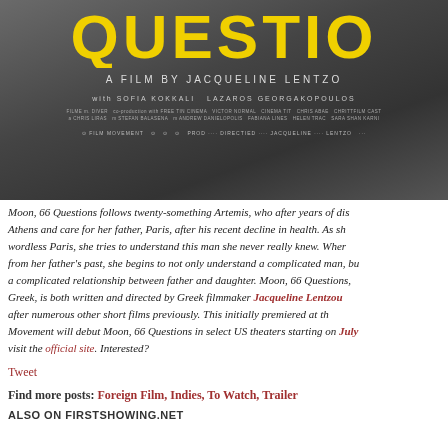[Figure (photo): Movie poster for 'Moon, 66 Questions' with large yellow text 'QUESTIO' visible against dark grey background, subtitle 'A FILM BY JACQUELINE LENTZO', cast names and credits below]
Moon, 66 Questions follows twenty-something Artemis, who after years of dis... Athens and care for her father, Paris, after his recent decline in health. As sh... wordless Paris, she tries to understand this man she never really knew. Wher... from her father's past, she begins to not only understand a complicated man, bu... a complicated relationship between father and daughter. Moon, 66 Questions,... Greek, is both written and directed by Greek filmmaker Jacqueline Lentzo... after numerous other short films previously. This initially premiered at th... Movement will debut Moon, 66 Questions in select US theaters starting on July... visit the official site. Interested?
Tweet
Find more posts: Foreign Film, Indies, To Watch, Trailer